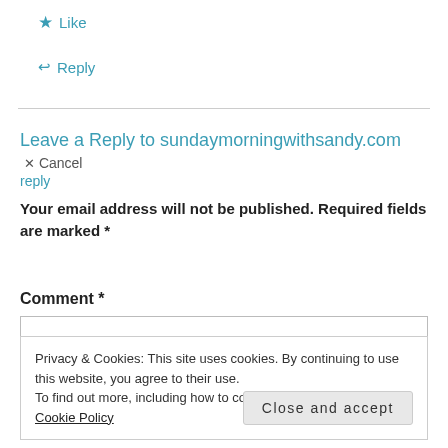★ Like
↩ Reply
Leave a Reply to sundaymorningwithsandy.com  ✕ Cancel reply
Your email address will not be published. Required fields are marked *
Comment *
Privacy & Cookies: This site uses cookies. By continuing to use this website, you agree to their use.
To find out more, including how to control cookies, see here: Cookie Policy
Close and accept